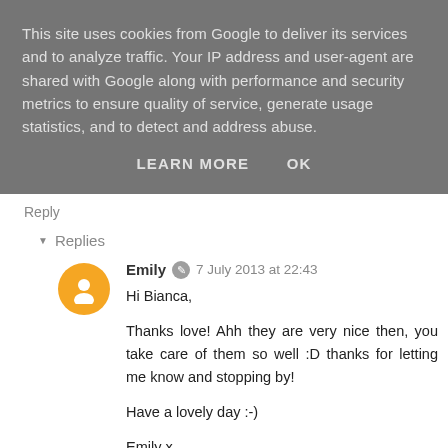This site uses cookies from Google to deliver its services and to analyze traffic. Your IP address and user-agent are shared with Google along with performance and security metrics to ensure quality of service, generate usage statistics, and to detect and address abuse.
LEARN MORE   OK
Reply
▾ Replies
Emily  7 July 2013 at 22:43
Hi Bianca,

Thanks love! Ahh they are very nice then, you take care of them so well :D thanks for letting me know and stopping by!

Have a lovely day :-)

Emily x